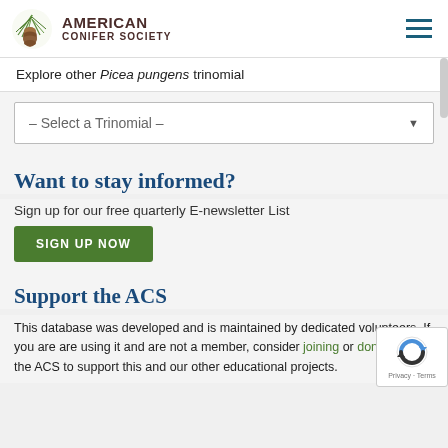[Figure (logo): American Conifer Society logo with pine branch and cone, text 'AMERICAN CONIFER SOCIETY']
Explore other Picea pungens trinomial
– Select a Trinomial –
Want to stay informed?
Sign up for our free quarterly E-newsletter List
SIGN UP NOW
Support the ACS
This database was developed and is maintained by dedicated volunteers. If you are are using it and are not a member, consider joining or donating to the ACS to support this and our other educational projects.